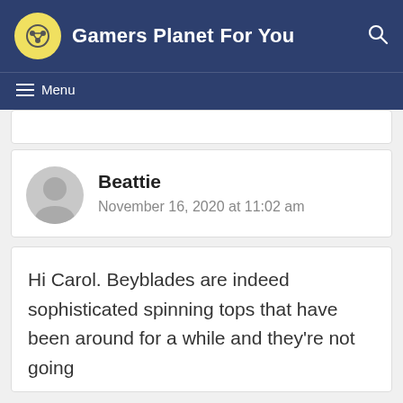Gamers Planet For You
Menu
Beattie
November 16, 2020 at 11:02 am
Hi Carol. Beyblades are indeed sophisticated spinning tops that have been around for a while and they're not going